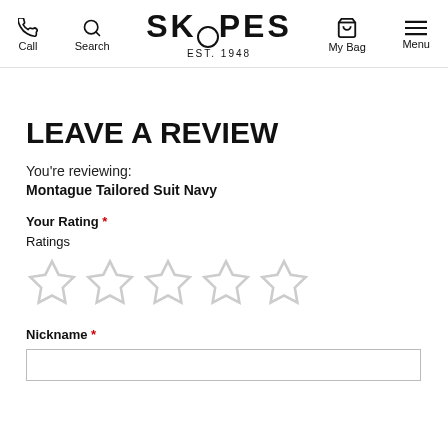Call | Search | SKOPES EST. 1948 | My Bag | Menu
LEAVE A REVIEW
You're reviewing:
Montague Tailored Suit Navy
Your Rating *
Ratings
[Figure (other): Five empty star rating icons in a row]
Nickname *
[Figure (other): Empty text input field for nickname]